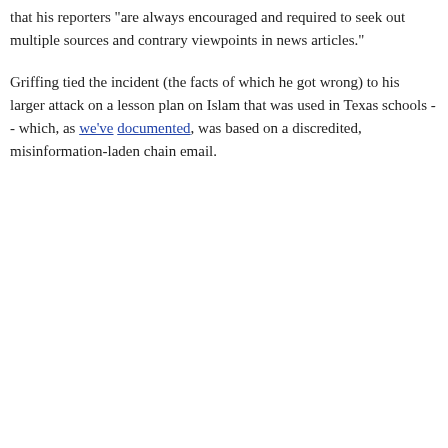that his reporters "are always encouraged and required to seek out multiple sources and contrary viewpoints in news articles."
Griffing tied the incident (the facts of which he got wrong) to his larger attack on a lesson plan on Islam that was used in Texas schools -- which, as we've documented, was based on a discredited, misinformation-laden chain email.